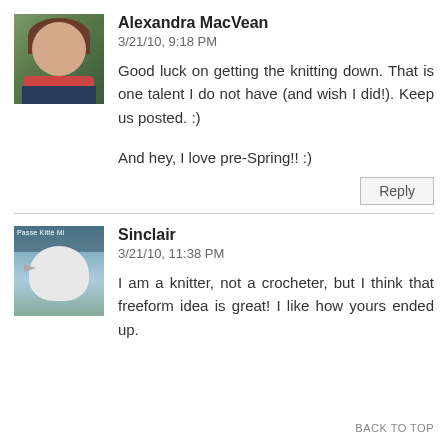Alexandra MacVean
3/21/10, 9:18 PM
Good luck on getting the knitting down. That is one talent I do not have (and wish I did!). Keep us posted. :)
And hey, I love pre-Spring!! :)
Reply
Sinclair
3/21/10, 11:38 PM
I am a knitter, not a crocheter, but I think that freeform idea is great! I like how yours ended up.
BACK TO TOP